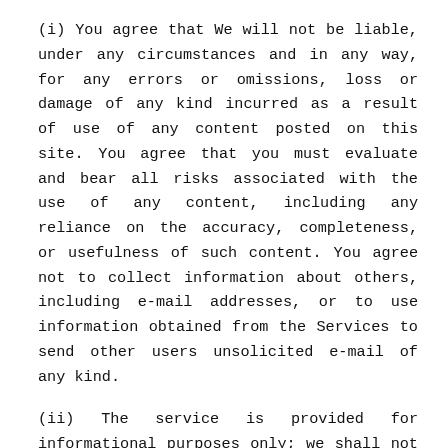(i) You agree that We will not be liable, under any circumstances and in any way, for any errors or omissions, loss or damage of any kind incurred as a result of use of any content posted on this site. You agree that you must evaluate and bear all risks associated with the use of any content, including any reliance on the accuracy, completeness, or usefulness of such content. You agree not to collect information about others, including e-mail addresses, or to use information obtained from the Services to send other users unsolicited e-mail of any kind.
(ii) The service is provided for informational purposes only; we shall not be responsible or liable for the accuracy or availability of any information appearing or available on the service.